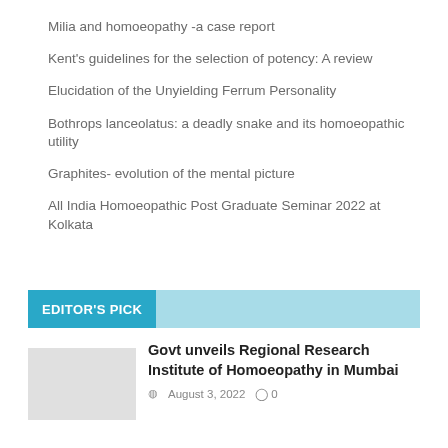Milia and homoeopathy -a case report
Kent's guidelines for the selection of potency: A review
Elucidation of the Unyielding Ferrum Personality
Bothrops lanceolatus: a deadly snake and its homoeopathic utility
Graphites- evolution of the mental picture
All India Homoeopathic Post Graduate Seminar 2022 at Kolkata
EDITOR'S PICK
Govt unveils Regional Research Institute of Homoeopathy in Mumbai
August 3, 2022  0